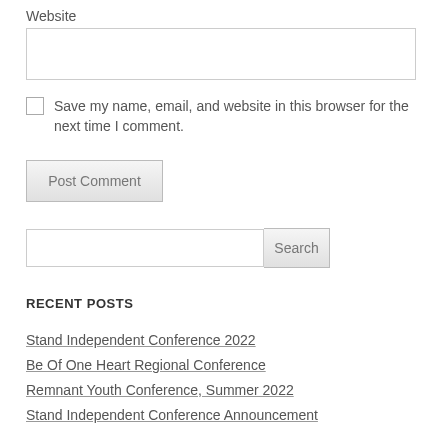Website
Save my name, email, and website in this browser for the next time I comment.
Post Comment
Search
RECENT POSTS
Stand Independent Conference 2022
Be Of One Heart Regional Conference
Remnant Youth Conference, Summer 2022
Stand Independent Conference Announcement